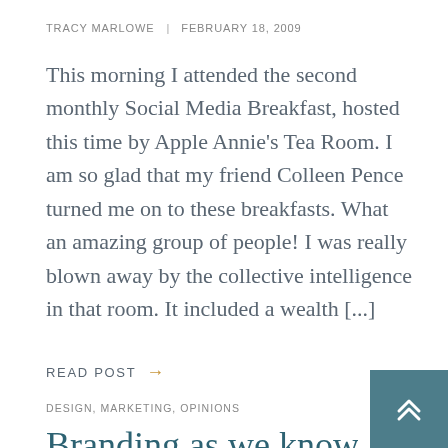TRACY MARLOWE | FEBRUARY 18, 2009
This morning I attended the second monthly Social Media Breakfast, hosted this time by Apple Annie's Tea Room.  I am so glad that my friend Colleen Pence turned me on to these breakfasts.  What an amazing group of people!  I was really blown away by the collective intelligence in that room.  It included a wealth [...]
READ POST →
DESIGN, MARKETING, OPINIONS
Branding as we know it is